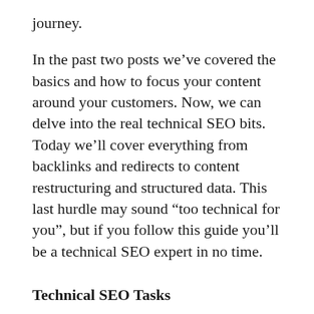journey.
In the past two posts we’ve covered the basics and how to focus your content around your customers. Now, we can delve into the real technical SEO bits. Today we’ll cover everything from backlinks and redirects to content restructuring and structured data. This last hurdle may sound “too technical for you”, but if you follow this guide you’ll be a technical SEO expert in no time.
Technical SEO Tasks
1. Site Architecture and Content Restructuring